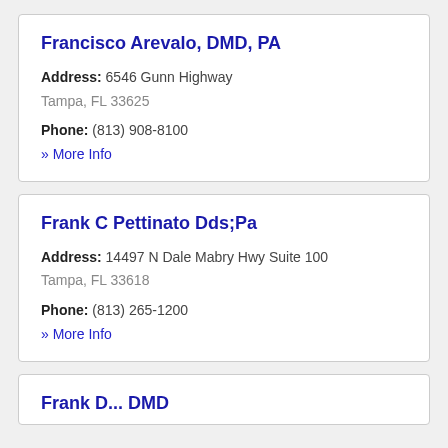Francisco Arevalo, DMD, PA
Address: 6546 Gunn Highway
Tampa, FL 33625
Phone: (813) 908-8100
» More Info
Frank C Pettinato Dds;Pa
Address: 14497 N Dale Mabry Hwy Suite 100
Tampa, FL 33618
Phone: (813) 265-1200
» More Info
Frank D...  DMD